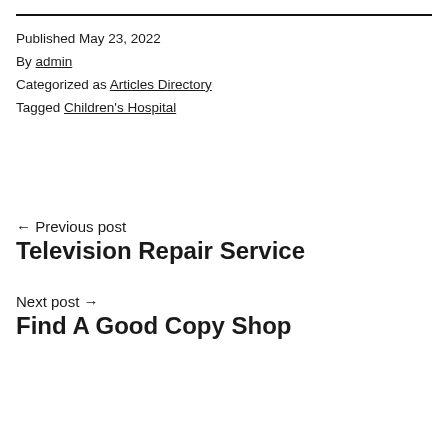Published May 23, 2022
By admin
Categorized as Articles Directory
Tagged Children's Hospital
← Previous post
Television Repair Service
Next post →
Find A Good Copy Shop